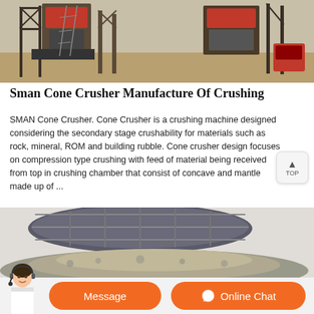[Figure (photo): Industrial cone crusher machinery at a mining or quarry site with metal scaffolding and structures in an outdoor setting]
Sman Cone Crusher Manufacture Of Crushing
SMAN Cone Crusher. Cone Crusher is a crushing machine designed considering the secondary stage crushability for materials such as rock, mineral, ROM and building rubble. Cone crusher design focuses on compression type crushing with feed of material being received from top in crushing chamber that consist of concave and mantle made up of ...
[Figure (photo): Close-up of a large industrial screening or crushing drum/barrel machine with crushed stone aggregate below it]